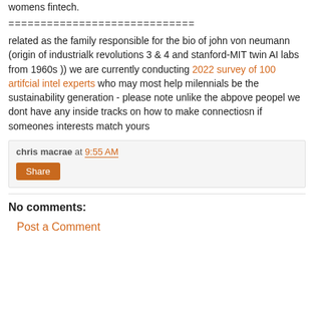womens fintech.
=============================
related as the family responsible for the bio of john von neumann (origin of industrialk revolutions 3 & 4 and stanford-MIT twin AI labs from 1960s )) we are currently conducting 2022 survey of 100 artifcial intel experts who may most help milennials be the sustainability generation - please note unlike the abpove peopel we dont have any inside tracks on how to make connectiosn if someones interests match yours
chris macrae at 9:55 AM
Share
No comments:
Post a Comment